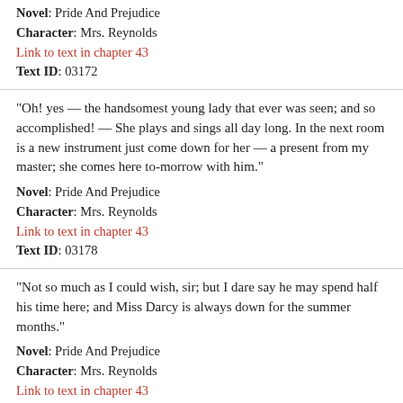Novel: Pride And Prejudice
Character: Mrs. Reynolds
Link to text in chapter 43
Text ID: 03172
“Oh! yes — the handsomest young lady that ever was seen; and so accomplished! — She plays and sings all day long. In the next room is a new instrument just come down for her — a present from my master; she comes here to-morrow with him.”
Novel: Pride And Prejudice
Character: Mrs. Reynolds
Link to text in chapter 43
Text ID: 03178
“Not so much as I could wish, sir; but I dare say he may spend half his time here; and Miss Darcy is always down for the summer months.”
Novel: Pride And Prejudice
Character: Mrs. Reynolds
Link to text in chapter 43
Text ID: 03181